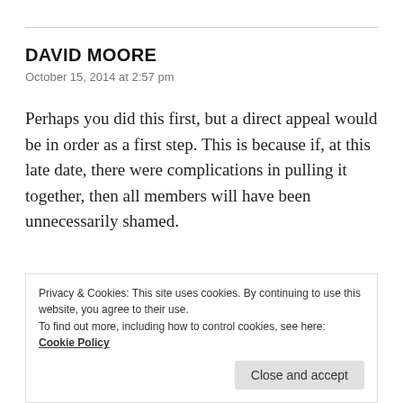DAVID MOORE
October 15, 2014 at 2:57 pm
Perhaps you did this first, but a direct appeal would be in order as a first step. This is because if, at this late date, there were complications in pulling it together, then all members will have been unnecessarily shamed.
No person, even Bishop Charles Blake, can make an
Privacy & Cookies: This site uses cookies. By continuing to use this website, you agree to their use.
To find out more, including how to control cookies, see here: Cookie Policy